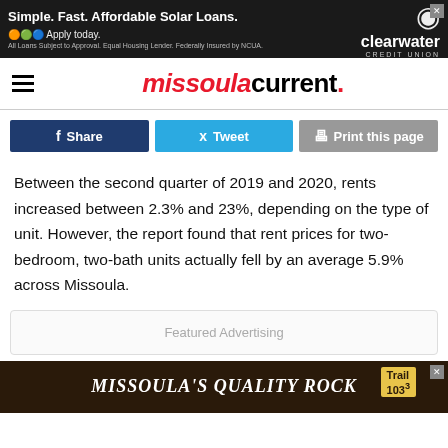[Figure (other): Top banner advertisement: Simple. Fast. Affordable Solar Loans. Apply today. Clearwater Credit Union logo. Close button (X).]
missoula current.
[Figure (other): Social sharing buttons: Share (Facebook, dark blue), Tweet (Twitter, light blue), Print this page (grey)]
Between the second quarter of 2019 and 2020, rents increased between 2.3% and 23%, depending on the type of unit. However, the report found that rent prices for two-bedroom, two-bath units actually fell by an average 5.9% across Missoula.
[Figure (other): Featured Advertising placeholder box]
[Figure (other): Bottom banner advertisement: Missoula's Quality Rock. Trail 103.3 badge. Close button (X).]